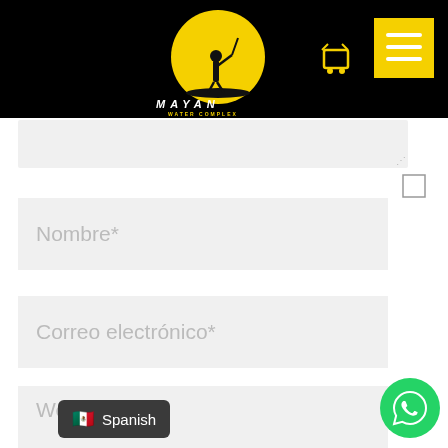[Figure (logo): Mayan Water Complex logo - black background with yellow circle containing silhouette of figure on water, text MAYAN WATER COMPLEX below]
[Figure (screenshot): Shopping cart icon in yellow/white on black background]
[Figure (screenshot): Yellow hamburger menu button with three white horizontal lines]
[Figure (screenshot): Textarea input field with resize handle, light gray background]
[Figure (screenshot): Empty checkbox (unchecked)]
Nombre*
Correo electrónico*
Web
Spanish
[Figure (screenshot): Green WhatsApp floating button with phone/chat icon]